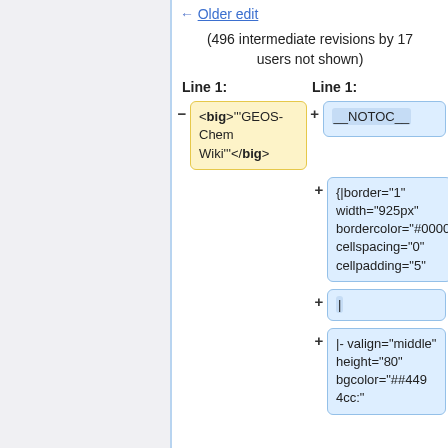← Older edit
(496 intermediate revisions by 17 users not shown)
Line 1:	Line 1:
<big>'''GEOS-Chem Wiki'''</big>
__NOTOC__
{|border="1" width="925px" bordercolor="#000000" cellspacing="0" cellpadding="5"
|
|- valign="middle" height="80" bgcolor="##4494cc"